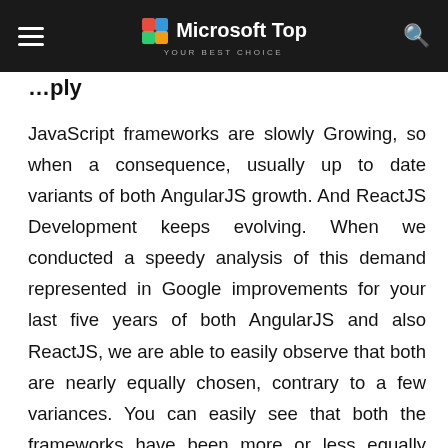Microsoft Top — YOUR BEST CHOICE
JavaScript frameworks are slowly Growing, so when a consequence, usually up to date variants of both AngularJS growth. And ReactJS Development keeps evolving. When we conducted a speedy analysis of this demand represented in Google improvements for your last five years of both AngularJS and also ReactJS, we are able to easily observe that both are nearly equally chosen, contrary to a few variances. You can easily see that both the frameworks have been more or less equally adopted, together with Angular top for quite a while and React catching up after.